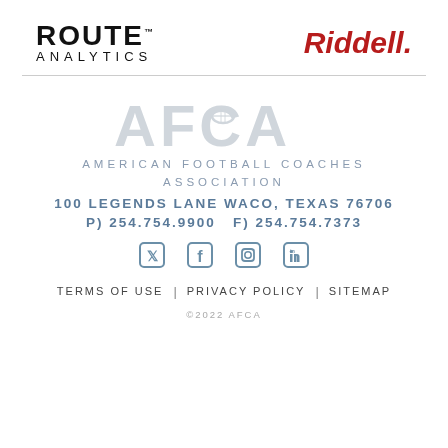[Figure (logo): Route Analytics logo — bold uppercase ROUTE with TM mark above E, and ANALYTICS in spaced caps below]
[Figure (logo): Riddell logo in bold italic dark red with period after name]
[Figure (logo): AFCA watermark logo — large light gray letters AFCA with football icon]
AMERICAN FOOTBALL COACHES ASSOCIATION
100 LEGENDS LANE WACO, TEXAS 76706
P) 254.754.9900   F) 254.754.7373
[Figure (infographic): Social media icons: Twitter, Facebook, Instagram, LinkedIn]
TERMS OF USE | PRIVACY POLICY | SITEMAP
©2022 AFCA